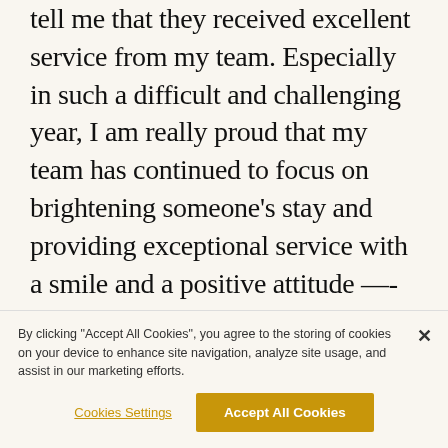tell me that they received excellent service from my team. Especially in such a difficult and challenging year, I am really proud that my team has continued to focus on brightening someone's stay and providing exceptional service with a smile and a positive attitude —- undoubtedly creating memorable moments and building Sonder's brand reputation.
By clicking "Accept All Cookies", you agree to the storing of cookies on your device to enhance site navigation, analyze site usage, and assist in our marketing efforts.
Cookies Settings
Accept All Cookies